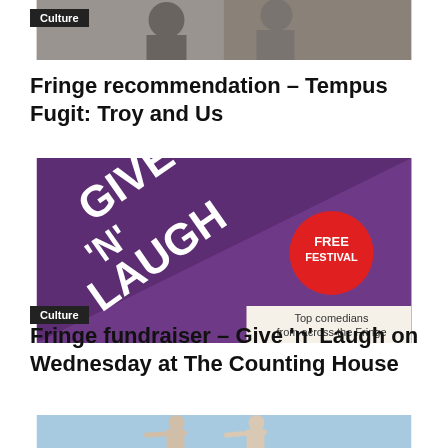[Figure (photo): Two performers, one with face paint, close up portrait photo cropped at top of page]
Culture
Fringe recommendation – Tempus Fugit: Troy and Us
[Figure (photo): Give 'N' Laugh Free Festival promotional poster – purple background with bold diagonal white text reading GIVE 'N' LAUGH, red circle badge saying FREE FESTIVAL, text at bottom: Top comedians from across the Fringe]
Culture
Fringe fundraiser – Give 'n' Laugh on Wednesday at The Counting House
[Figure (photo): Two dancers performing on stage against a light blue background]